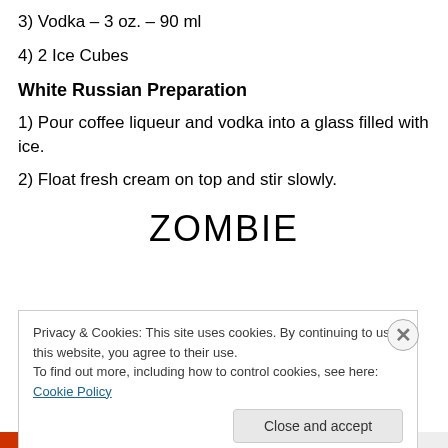3) Vodka – 3 oz. – 90 ml
4) 2 Ice Cubes
White Russian Preparation
1) Pour coffee liqueur and vodka into a glass filled with ice.
2) Float fresh cream on top and stir slowly.
ZOMBIE
Privacy & Cookies: This site uses cookies. By continuing to use this website, you agree to their use.
To find out more, including how to control cookies, see here: Cookie Policy